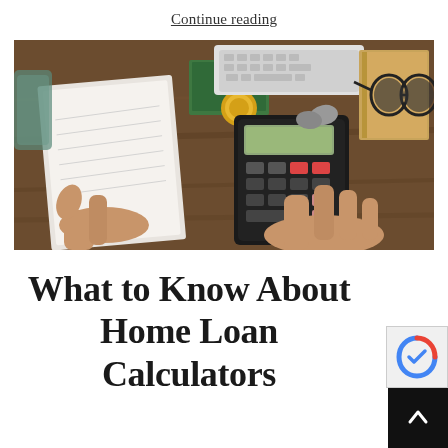Continue reading
[Figure (photo): Person holding a notebook and using a calculator on a wooden desk with coins, a keyboard, glasses, and books in the background]
What to Know About Home Loan Calculators